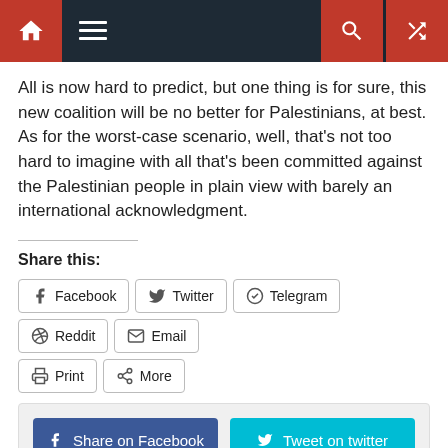[Figure (screenshot): Website navigation bar with dark background, red home button, hamburger menu, red search and shuffle buttons]
All is now hard to predict, but one thing is for sure, this new coalition will be no better for Palestinians, at best. As for the worst-case scenario, well, that's not too hard to imagine with all that's been committed against the Palestinian people in plain view with barely an international acknowledgment.
Share this:
[Figure (screenshot): Social share buttons: Facebook, Twitter, Telegram, Reddit, Email, Print, More]
[Figure (screenshot): Social share card with Share on Facebook, Tweet on twitter, Share on google+, Pin to pinterest buttons]